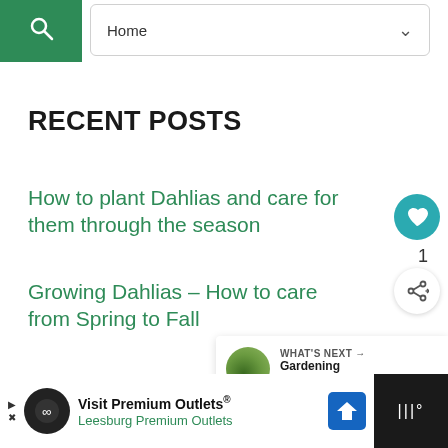[Figure (screenshot): Navigation bar with green search button and Home dropdown]
RECENT POSTS
How to plant Dahlias and care for them through the season
Growing Dahlias – How to care from Spring to Fall
Best Tips on How to Dethatch a Lawn
[Figure (infographic): What's Next panel: Gardening with Shade...]
[Figure (screenshot): Advertisement bar: Visit Premium Outlets® Leesburg Premium Outlets]